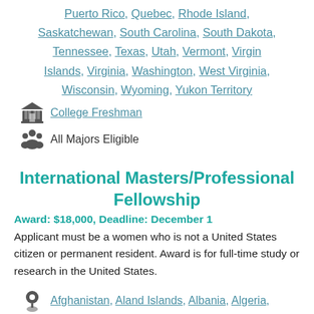Puerto Rico, Quebec, Rhode Island, Saskatchewan, South Carolina, South Dakota, Tennessee, Texas, Utah, Vermont, Virgin Islands, Virginia, Washington, West Virginia, Wisconsin, Wyoming, Yukon Territory
College Freshman
All Majors Eligible
International Masters/Professional Fellowship
Award: $18,000, Deadline: December 1
Applicant must be a women who is not a United States citizen or permanent resident. Award is for full-time study or research in the United States.
Afghanistan, Aland Islands, Albania, Algeria,